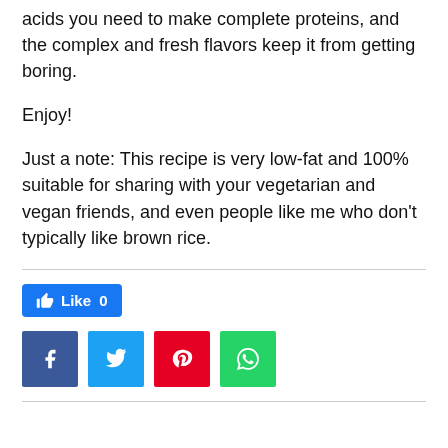acids you need to make complete proteins, and the complex and fresh flavors keep it from getting boring.
Enjoy!
Just a note: This recipe is very low-fat and 100% suitable for sharing with your vegetarian and vegan friends, and even people like me who don't typically like brown rice.
[Figure (infographic): Social media sharing buttons: Like button (0 likes), Facebook, Twitter, Pinterest, WhatsApp]